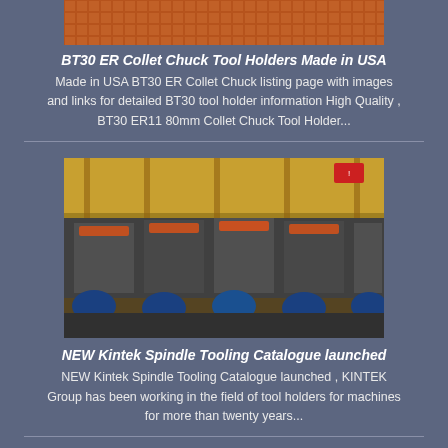[Figure (photo): Partial top image showing a textured orange/brown industrial surface or material, cropped at the top of the page.]
BT30 ER Collet Chuck Tool Holders Made in USA
Made in USA BT30 ER Collet Chuck listing page with images and links for detailed BT30 tool holder information High Quality , BT30 ER11 80mm Collet Chuck Tool Holder...
[Figure (photo): Interior of an industrial factory showing large heavy machinery — several large machine units in a row with blue motor housings at the base, under a yellow-lit warehouse ceiling.]
NEW Kintek Spindle Tooling Catalogue launched
NEW Kintek Spindle Tooling Catalogue launched , KINTEK Group has been working in the field of tool holders for machines for more than twenty years...
[Figure (photo): Close-up of industrial machine with a gray cylindrical motor body flanked by two large red circular wheels/flanges on a yellow base platform, in a dark workshop setting.]